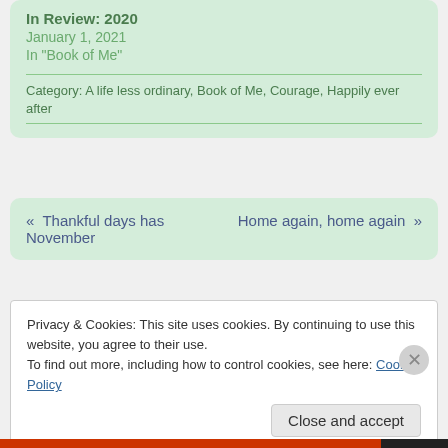In Review: 2020
January 1, 2021
In "Book of Me"
Category: A life less ordinary, Book of Me, Courage, Happily ever after
« Thankful days has November
Home again, home again »
Privacy & Cookies: This site uses cookies. By continuing to use this website, you agree to their use.
To find out more, including how to control cookies, see here: Cookie Policy
Close and accept